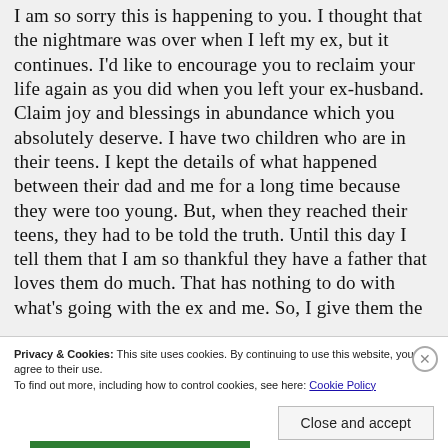I am so sorry this is happening to you. I thought that the nightmare was over when I left my ex, but it continues. I'd like to encourage you to reclaim your life again as you did when you left your ex-husband. Claim joy and blessings in abundance which you absolutely deserve. I have two children who are in their teens. I kept the details of what happened between their dad and me for a long time because they were too young. But, when they reached their teens, they had to be told the truth. Until this day I tell them that I am so thankful they have a father that loves them do much. That has nothing to do with what's going with the ex and me. So, I give them the
Privacy & Cookies: This site uses cookies. By continuing to use this website, you agree to their use.
To find out more, including how to control cookies, see here: Cookie Policy
Close and accept